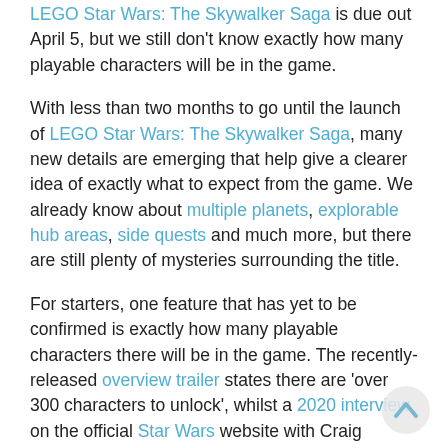LEGO Star Wars: The Skywalker Saga is due out April 5, but we still don't know exactly how many playable characters will be in the game.
With less than two months to go until the launch of LEGO Star Wars: The Skywalker Saga, many new details are emerging that help give a clearer idea of exactly what to expect from the game. We already know about multiple planets, explorable hub areas, side quests and much more, but there are still plenty of mysteries surrounding the title.
For starters, one feature that has yet to be confirmed is exactly how many playable characters there will be in the game. The recently-released overview trailer states there are 'over 300 characters to unlock', whilst a 2020 interview on the official Star Wars website with Craig Derrick, managing producer at Lucasfilm Games, gave hints